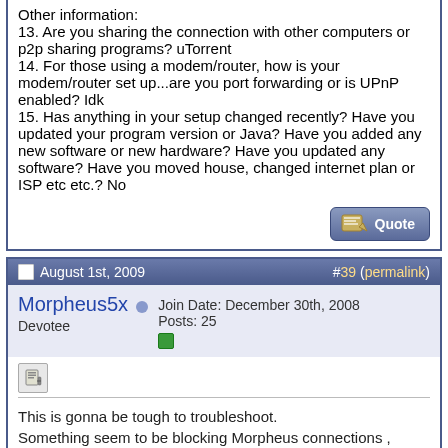Other information:
13. Are you sharing the connection with other computers or p2p sharing programs? uTorrent
14. For those using a modem/router, how is your modem/router set up...are you port forwarding or is UPnP enabled? Idk
15. Has anything in your setup changed recently? Have you updated your program version or Java? Have you added any new software or new hardware? Have you updated any software? Have you moved house, changed internet plan or ISP etc etc.? No
August 1st, 2009  #39 (permalink)
Morpheus5x  Join Date: December 30th, 2008  Posts: 25  Devotee
This is gonna be tough to troubleshoot.
Something seem to be blocking Morpheus connections , either Bitdefender firewall or at the router .

Try use Active Ports , this program displays all network connections and programs that are making those connections -
[IMG] Active Ports 1.4 Download